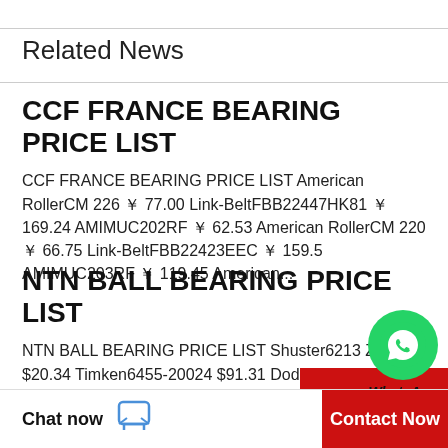Related News
CCF FRANCE BEARING PRICE LIST
CCF FRANCE BEARING PRICE LIST American RollerCM 226 ￥ 77.00 Link-BeltFBB22447HK81 ￥ 169.24 AMIMUC202RF ￥ 62.53 American RollerCM 220 ￥ 66.75 Link-BeltFBB22423EEC ￥ 159.5 AMIMUC203RF ￥ 119.45 American...
[Figure (other): WhatsApp Online green chat button widget]
NTN BALL BEARING PRICE LIST
NTN BALL BEARING PRICE LIST Shuster6213 ZZ JEM $20.34 Timken6455-20024 $91.31 DodgeP2B-IP-206LE $123.90 Shuster6314 2RS JEM $81.43 Timken98335-70000 $5.98 FAG6202-C3 $111.53
Chat now  Contact Now